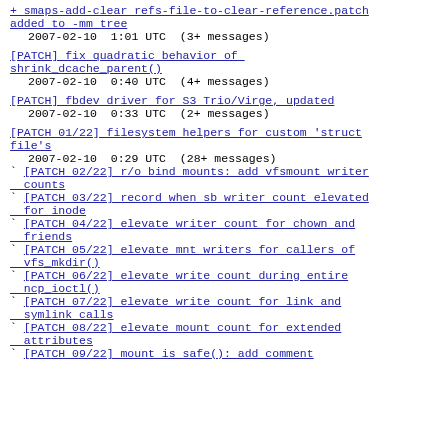+ smaps-add-clear refs-file-to-clear-reference.patch added to -mm tree
  2007-02-10  1:01 UTC  (3+ messages)
[PATCH] fix quadratic behavior of shrink_dcache_parent()
  2007-02-10  0:40 UTC  (4+ messages)
[PATCH] fbdev driver for S3 Trio/Virge, updated
  2007-02-10  0:33 UTC  (2+ messages)
[PATCH 01/22] filesystem helpers for custom 'struct file's
  2007-02-10  0:29 UTC  (28+ messages)
` [PATCH 02/22] r/o bind mounts: add vfsmount writer counts
` [PATCH 03/22] record when sb writer count elevated for inode
` [PATCH 04/22] elevate writer count for chown and friends
` [PATCH 05/22] elevate mnt writers for callers of vfs_mkdir()
` [PATCH 06/22] elevate write count during entire ncp_ioctl()
` [PATCH 07/22] elevate write count for link and symlink calls
` [PATCH 08/22] elevate mount count for extended attributes
` [PATCH 09/22] mount is safe(): add comment